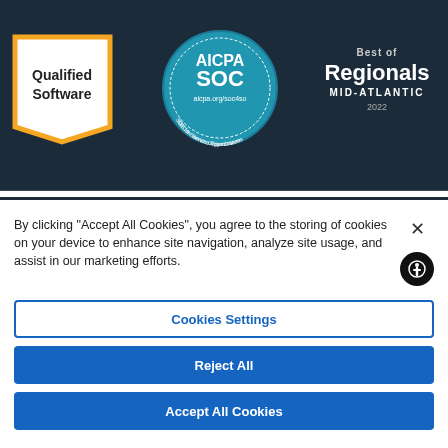[Figure (logo): Qualified Software badge (pentagon/tag shape with orange border, white background, bold text 'Qualified Software')]
[Figure (logo): AICPA SOC circular badge (blue circle with AICPA SOC text, aicpa.org/soc4so, Service Organization text around border)]
[Figure (logo): Best of Regionals MID-ATLANTIC 2022 badge (dark background with white text)]
By clicking “Accept All Cookies”, you agree to the storing of cookies on your device to enhance site navigation, analyze site usage, and assist in our marketing efforts.
Cookies Settings
Reject All
Accept All Cookies